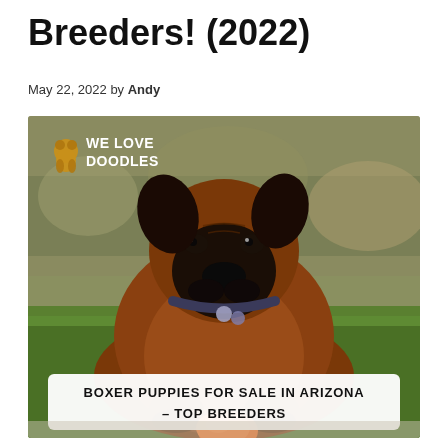Breeders! (2022)
May 22, 2022 by Andy
[Figure (photo): A brown Boxer dog lying on green grass with an orange ball, wearing a collar with tags. The image has a 'We Love Doodles' logo in the top left corner and a white banner at the bottom reading 'BOXER PUPPIES FOR SALE IN ARIZONA – TOP BREEDERS'.]